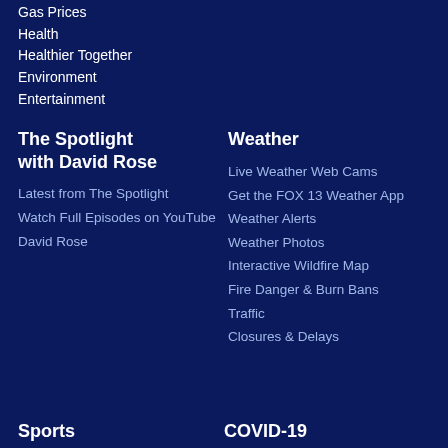Gas Prices
Health
Healthier Together
Environment
Entertainment
The Spotlight with David Rose
Latest from The Spotlight
Watch Full Episodes on YouTube
David Rose
Weather
Live Weather Web Cams
Get the FOX 13 Weather App
Weather Alerts
Weather Photos
Interactive Wildfire Map
Fire Danger & Burn Bans
Traffic
Closures & Delays
Sports
COVID-19